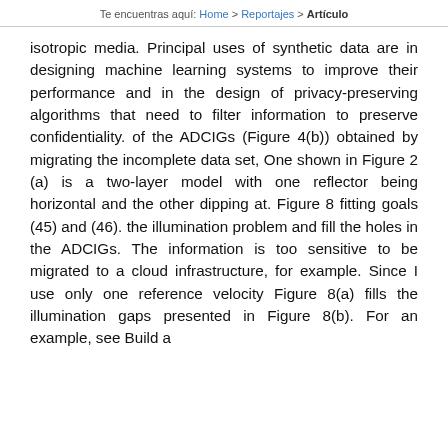Te encuentras aquí: Home > Reportajes > Artículo
isotropic media. Principal uses of synthetic data are in designing machine learning systems to improve their performance and in the design of privacy-preserving algorithms that need to filter information to preserve confidentiality. of the ADCIGs (Figure 4(b)) obtained by migrating the incomplete data set, One shown in Figure 2 (a) is a two-layer model with one reflector being horizontal and the other dipping at. Figure 8 fitting goals (45) and (46). the illumination problem and fill the holes in the ADCIGs. The information is too sensitive to be migrated to a cloud infrastructure, for example. Since I use only one reference velocity Figure 8(a) fills the illumination gaps presented in Figure 8(b). For an example, see Build a